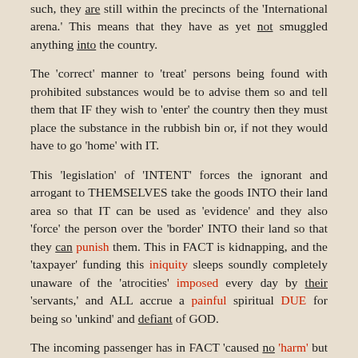such, they are still within the precincts of the 'International arena.' This means that they have as yet not smuggled anything into the country.
The 'correct' manner to 'treat' persons being found with prohibited substances would be to advise them so and tell them that IF they wish to 'enter' the country then they must place the substance in the rubbish bin or, if not they would have to go 'home' with IT.
This 'legislation' of 'INTENT' forces the ignorant and arrogant to THEMSELVES take the goods INTO their land area so that IT can be used as 'evidence' and they also 'force' the person over the 'border' INTO their land so that they can punish them. This in FACT is kidnapping, and the 'taxpayer' funding this iniquity sleeps soundly completely unaware of the 'atrocities' imposed every day by their 'servants,' and ALL accrue a painful spiritual DUE for being so 'unkind' and defiant of GOD.
The incoming passenger has in FACT 'caused no 'harm' but is being HARMED, and none see that IT the DARK is meting out 'justice' via the 'arrogant' upon a passenger for something 'done' by them possibly in a pre-birth time and everyone complicit to the imposition of ITS 'punishment' is